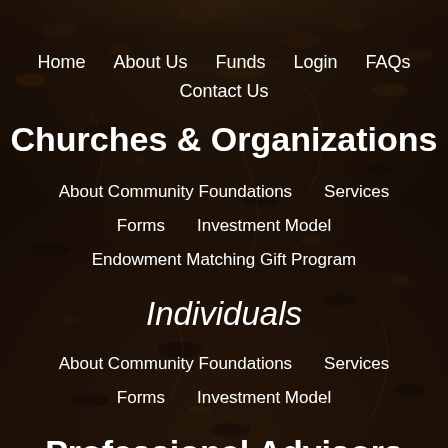[Figure (photo): Dark soil/dirt background filling the entire page]
Home   About Us   Funds   Login   FAQs
Contact Us
Churches & Organizations
About Community Foundations   Services
Forms   Investment Model
Endowment Matching Gift Program
Individuals
About Community Foundations   Services
Forms   Investment Model
Professional Advisors